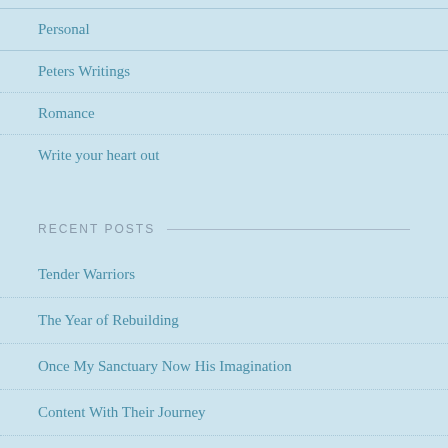Personal
Peters Writings
Romance
Write your heart out
RECENT POSTS
Tender Warriors
The Year of Rebuilding
Once My Sanctuary Now His Imagination
Content With Their Journey